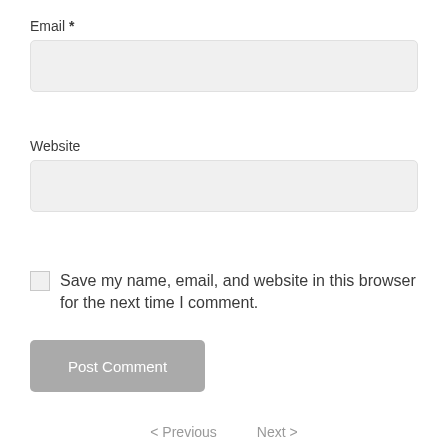Email *
[Figure (other): Email input text field, light gray background, rounded corners]
Website
[Figure (other): Website input text field, light gray background, rounded corners]
Save my name, email, and website in this browser for the next time I comment.
[Figure (other): Post Comment button, gray background, white text]
< Previous   Next >